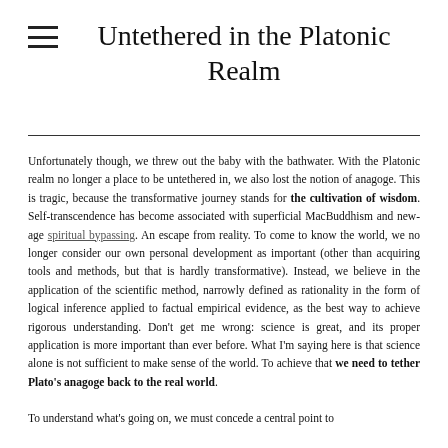Untethered in the Platonic Realm
Unfortunately though, we threw out the baby with the bathwater. With the Platonic realm no longer a place to be untethered in, we also lost the notion of anagoge. This is tragic, because the transformative journey stands for the cultivation of wisdom. Self-transcendence has become associated with superficial MacBuddhism and new-age spiritual bypassing. An escape from reality. To come to know the world, we no longer consider our own personal development as important (other than acquiring tools and methods, but that is hardly transformative). Instead, we believe in the application of the scientific method, narrowly defined as rationality in the form of logical inference applied to factual empirical evidence, as the best way to achieve rigorous understanding. Don't get me wrong: science is great, and its proper application is more important than ever before. What I'm saying here is that science alone is not sufficient to make sense of the world. To achieve that we need to tether Plato's anagoge back to the real world.
To understand what's going on, we must concede a central point to